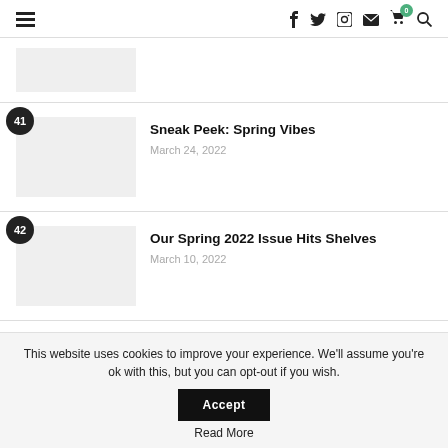Navigation bar with hamburger menu and social icons (f, twitter, instagram, mail, cart with badge 0, search)
[Figure (photo): Partially visible article thumbnail image (gray placeholder), cropped at top]
Sneak Peek: Spring Vibes
March 24, 2022
Our Spring 2022 Issue Hits Shelves
March 10, 2022
This website uses cookies to improve your experience. We'll assume you're ok with this, but you can opt-out if you wish. Accept
Read More